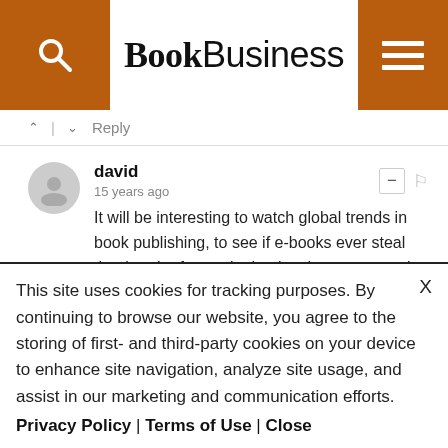BookBusiness
^ | v  Reply
david
15 years ago
It will be interesting to watch global trends in book publishing, to see if e-books ever steal the thunder from print books, the way e-music seems to be cutting into "printed" music on CD's.<br />
This site uses cookies for tracking purposes. By continuing to browse our website, you agree to the storing of first- and third-party cookies on your device to enhance site navigation, analyze site usage, and assist in our marketing and communication efforts.
Privacy Policy | Terms of Use | Close